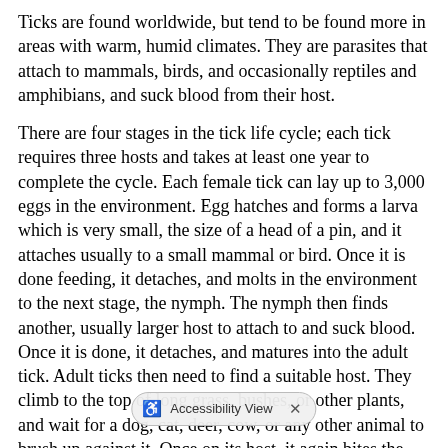Ticks are found worldwide, but tend to be found more in areas with warm, humid climates. They are parasites that attach to mammals, birds, and occasionally reptiles and amphibians, and suck blood from their host.
There are four stages in the tick life cycle; each tick requires three hosts and takes at least one year to complete the cycle. Each female tick can lay up to 3,000 eggs in the environment. Egg hatches and forms a larva which is very small, the size of a head of a pin, and it attaches usually to a small mammal or bird. Once it is done feeding, it detaches, and molts in the environment to the next stage, the nymph. The nymph then finds another, usually larger host to attach to and suck blood. Once it is done, it detaches, and matures into the adult tick. Adult ticks then need to find a suitable host. They climb to the top of long grass, bushes, or other plants, and wait for a dog, cat, deer, cow, or any other animal to brush up against it. Once on its host, it again bites the skin and feeds by drinking blood.
There are many different species of ticks, but most, if not all, can carry diseases they can give to their host. Common tick borne diseases are Lyme disease, Babesia, Ehrlichia, Anaplasmosis, tularemia, and Rocky Mountain Spotted Fever. All of these diseases can a… occur in